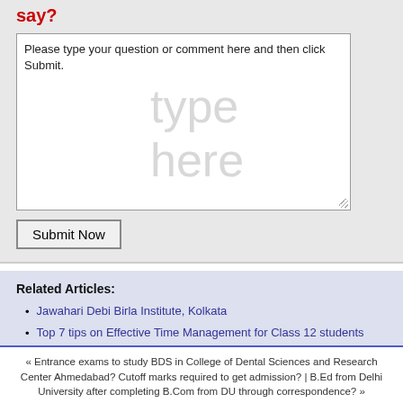say?
Please type your question or comment here and then click Submit.
type here
Submit Now
Related Articles:
Jawahari Debi Birla Institute, Kolkata
Top 7 tips on Effective Time Management for Class 12 students
Eligibility Requirements for Non Teaching Staff Recruitment in DTU
Admission Process for PGP in IIM, Indore
Post Graduate Courses in Journalism
« Entrance exams to study BDS in College of Dental Sciences and Research Center Ahmedabad? Cutoff marks required to get admission? | B.Ed from Delhi University after completing B.Com from DU through correspondence? »